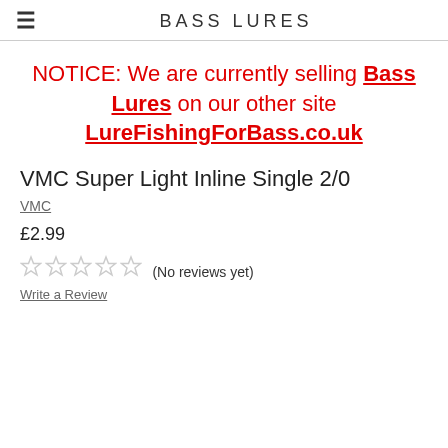BASS LURES
NOTICE: We are currently selling Bass Lures on our other site LureFishingForBass.co.uk
VMC Super Light Inline Single 2/0
VMC
£2.99
(No reviews yet)
Write a Review